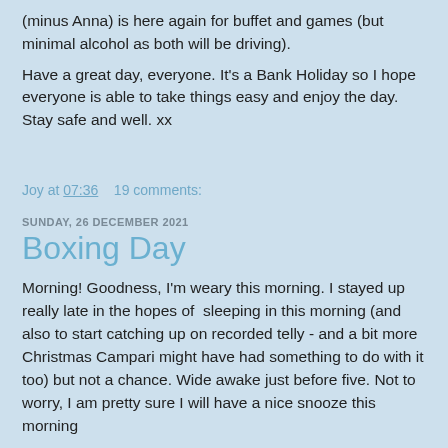(minus Anna) is here again for buffet and games (but minimal alcohol as both will be driving).
Have a great day, everyone.  It's a Bank Holiday so I hope everyone is able to take things easy and enjoy the day.  Stay safe and well.  xx
Joy at 07:36    19 comments:
SUNDAY, 26 DECEMBER 2021
Boxing Day
Morning!  Goodness, I'm weary this morning.  I stayed up really late in the hopes of  sleeping in this morning (and also to start catching up on recorded telly - and a bit more Christmas Campari might have had something to do with it too) but not a chance.  Wide awake just before five.  Not to worry, I am pretty sure I will have a nice snooze this morning